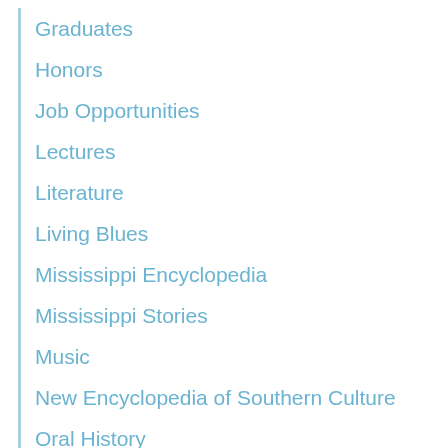Graduates
Honors
Job Opportunities
Lectures
Literature
Living Blues
Mississippi Encyclopedia
Mississippi Stories
Music
New Encyclopedia of Southern Culture
Oral History